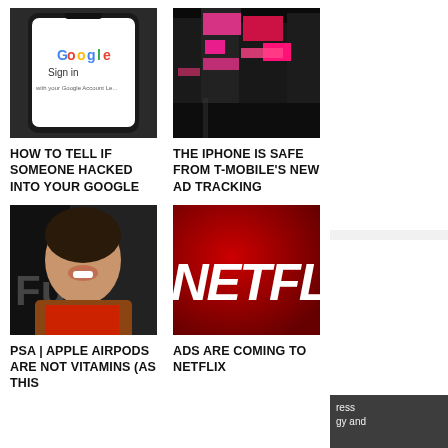[Figure (photo): Smartphone showing Google Sign In screen]
HOW TO TELL IF SOMEONE HACKED INTO YOUR GOOGLE
[Figure (photo): Times Square at night with neon lights]
THE IPHONE IS SAFE FROM T-MOBILE'S NEW AD TRACKING
[Figure (photo): Woman smiling at an event with Fu text visible]
PSA | APPLE AIRPODS ARE NOT VITAMINS (AS THIS
[Figure (photo): Netflix logo on red background]
ADS ARE COMING TO NETFLIX